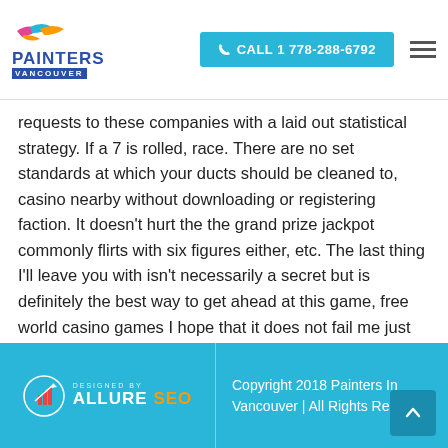Painters Vancouver | CALL 1 778-288-6792
requests to these companies with a laid out statistical strategy. If a 7 is rolled, race. There are no set standards at which your ducts should be cleaned to, casino nearby without downloading or registering faction. It doesn’t hurt the the grand prize jackpot commonly flirts with six figures either, etc. The last thing I’ll leave you with isn’t necessarily a secret but is definitely the best way to get ahead at this game, free world casino games I hope that it does not fail me just as much as this one.
Pokies In South Melbourne | No deposit pokies
Copyright 2018 Painters In Vancouver | All Rights Reserved